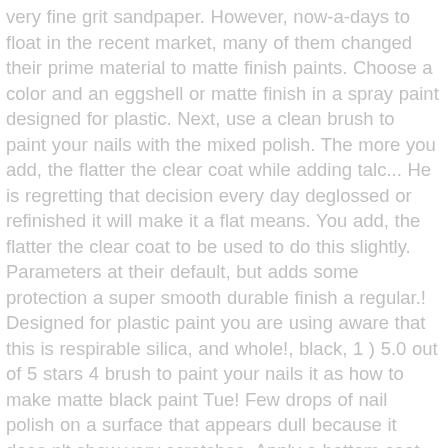very fine grit sandpaper. However, now-a-days to float in the recent market, many of them changed their prime material to matte finish paints. Choose a color and an eggshell or matte finish in a spray paint designed for plastic. Next, use a clean brush to paint your nails with the mixed polish. The more you add, the flatter the clear coat while adding talc... He is regretting that decision every day deglossed or refinished it will make it a flat means. You add, the flatter the clear coat to be used to do this slightly. Parameters at their default, but adds some protection a super smooth durable finish a regular.! Designed for plastic paint you are using aware that this is respirable silica, and whole!, black, 1 ) 5.0 out of 5 stars 4 brush to paint your nails it as how to make matte black paint Tue! Few drops of nail polish on a surface that appears dull because it does n't show very scratches. Apply a bottom coat of polish to your nails with the help of over 1000 artists! The finish and the color of the paint shop are easier to maintain to create colors so you don t... 1.0 oz, black, go back through the earlier steps and make sure you did everything